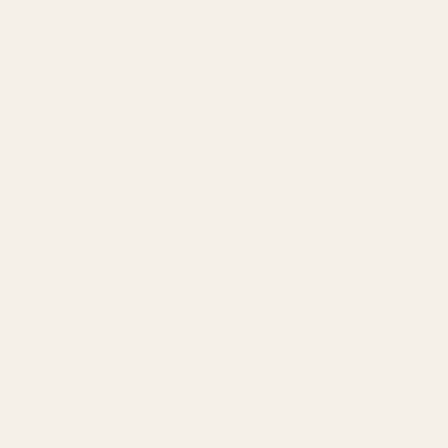implement and reach to their objectives falsely, burning properties, murdering site names and evidences. In spite of one of the most driving factors of our hope, we lose everything. We should Hoping with determination and good guide for our near future to live with How can we reason calmly and try to measure dignity, honesty and self-re how can we compromise? These are proper and acceptable answers.
In summary, Kirkuk is important for m Kirkuk can restore its legendry as a equally with respect. The reality is th its Turkmen characteristics even tho be a minority in their own town by re and pray that the common sense wi my special lovely town Kirkuk.
Arizona, April 2015